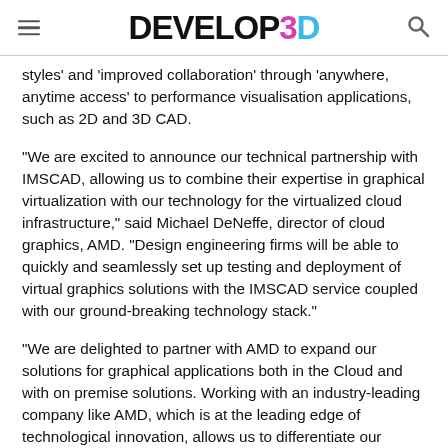DEVELOP3D
styles' and 'improved collaboration' through 'anywhere, anytime access' to performance visualisation applications, such as 2D and 3D CAD.
“We are excited to announce our technical partnership with IMSCAD, allowing us to combine their expertise in graphical virtualization with our technology for the virtualized cloud infrastructure,” said Michael DeNeffe, director of cloud graphics, AMD. “Design engineering firms will be able to quickly and seamlessly set up testing and deployment of virtual graphics solutions with the IMSCAD service coupled with our ground-breaking technology stack.”
“We are delighted to partner with AMD to expand our solutions for graphical applications both in the Cloud and with on premise solutions. Working with an industry-leading company like AMD, which is at the leading edge of technological innovation, allows us to differentiate our